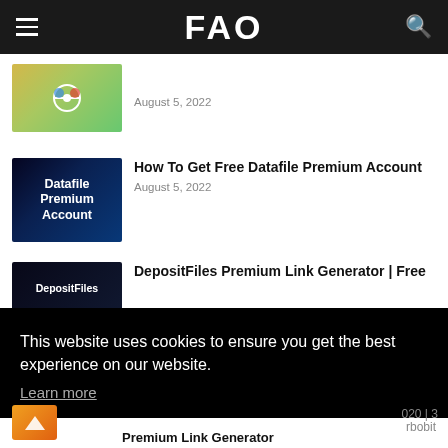FAO
[Figure (screenshot): Thumbnail image with Pokemon Go icons and colorful background]
August 5, 2022
[Figure (screenshot): Thumbnail with dark blue circuit background and text: Datafile Premium Account]
How To Get Free Datafile Premium Account
August 5, 2022
[Figure (screenshot): Thumbnail with dark background and text: DepositFiles]
DepositFiles Premium Link Generator | Free
This website uses cookies to ensure you get the best experience on our website.
Learn more
Got it!
020 | 3
rbobit
Premium Link Generator